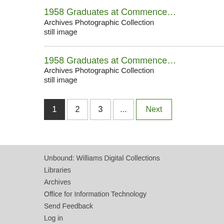1958 Graduates at Commence…
Archives Photographic Collection
still image
1
2
3
...
Next
Unbound: Williams Digital Collections
Libraries
Archives
Office for Information Technology
Send Feedback
Log in